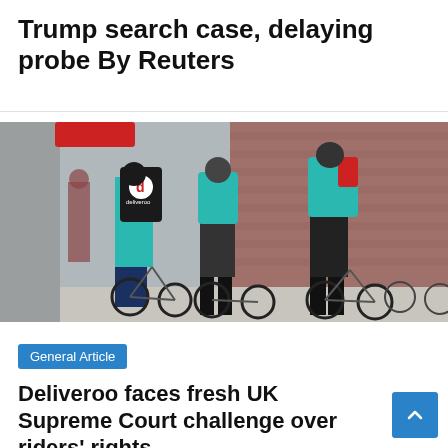Trump search case, delaying probe By Reuters
[Figure (photo): Deliveroo riders with teal-coloured backpacks and bicycles gathered on a street, seen from behind]
General Article
Deliveroo faces fresh UK Supreme Court challenge over riders' rights